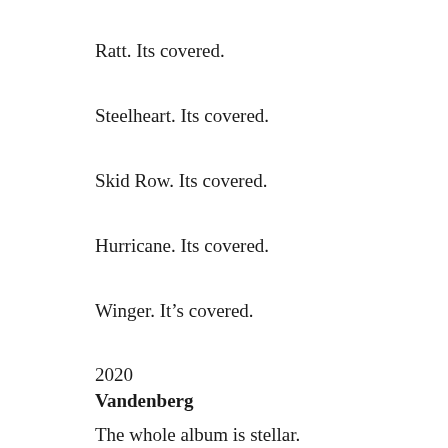Ratt. Its covered.
Steelheart. Its covered.
Skid Row. Its covered.
Hurricane. Its covered.
Winger. It’s covered.
2020
Vandenberg
The whole album is stellar.